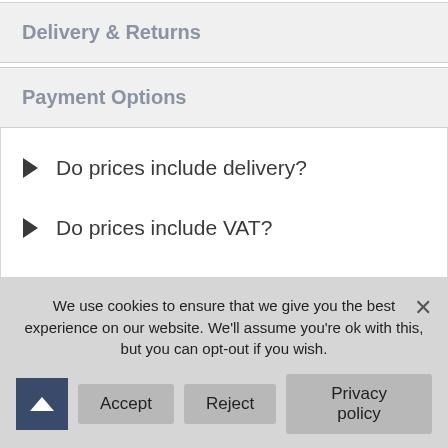Delivery & Returns
Payment Options
Do prices include delivery?
Do prices include VAT?
What is your Best Price Promise?
How Do I Pay for my order?
What is your 100% No Fuss Satisfaction
We use cookies to ensure that we give you the best experience on our website. We'll assume you're ok with this, but you can opt-out if you wish.